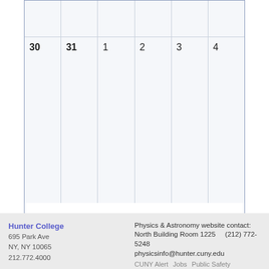[Figure (other): Partial calendar grid showing the last two rows. Top row shows empty cells. Bottom row shows dates 30, 31, 1, 2, 3, 4.]
<< previous month    June 2020
Hunter College
695 Park Ave
NY, NY 10065
212.772.4000
Physics & Astronomy website contact:
North Building Room 1225    (212) 772-5248
physicsinfo@hunter.cuny.edu
CUNY Alert    Jobs    Public Safety    Website Fe...
Disclaimer    Privacy Policy    CUNY Tobacco Poli...
About Hunter    Academics    Admissions    O...
Students    Libraries    Research    Make a Gi...